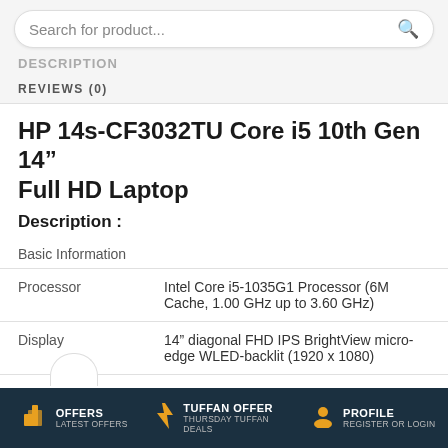Search for product...
DESCRIPTION
REVIEWS (0)
HP 14s-CF3032TU Core i5 10th Gen 14" Full HD Laptop
Description :
|  |  |
| --- | --- |
| Basic Information |  |
| Processor | Intel Core i5-1035G1 Processor (6M Cache, 1.00 GHz up to 3.60 GHz) |
| Display | 14" diagonal FHD IPS BrightView micro-edge WLED-backlit (1920 x 1080) |
| Memory | 4 GB DDR4 3200 MHz SDRAM |
OFFERS LATEST OFFERS | TUFFAN OFFER THURSDAY TUFFAN DEALS | PROFILE REGISTER OR LOGIN